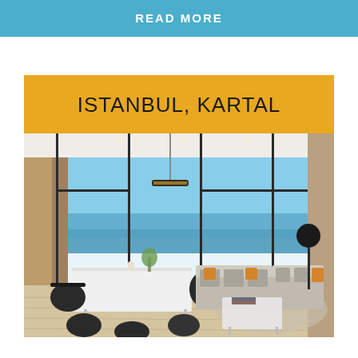READ MORE
ISTANBUL, KARTAL
[Figure (photo): Interior render of a luxury high-rise apartment in Istanbul Kartal with floor-to-ceiling windows, sea view, modern dining table with black chairs, pendant light, and living area with grey sofas and orange accent pillows.]